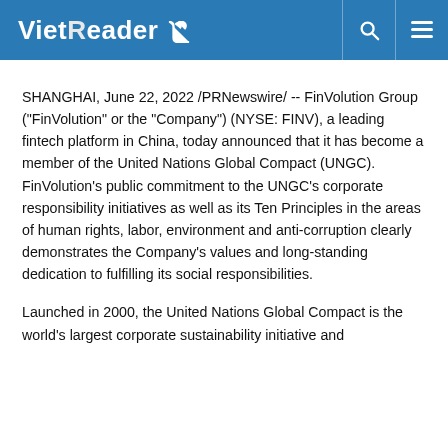VietReader
SHANGHAI, June 22, 2022 /PRNewswire/ -- FinVolution Group ("FinVolution" or the "Company") (NYSE: FINV), a leading fintech platform in China, today announced that it has become a member of the United Nations Global Compact (UNGC). FinVolution's public commitment to the UNGC's corporate responsibility initiatives as well as its Ten Principles in the areas of human rights, labor, environment and anti-corruption clearly demonstrates the Company's values and long-standing dedication to fulfilling its social responsibilities.
Launched in 2000, the United Nations Global Compact is the world's largest corporate sustainability initiative and